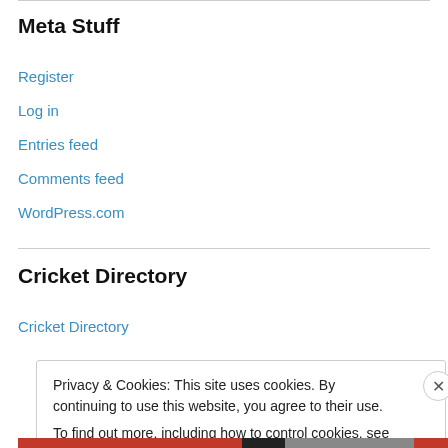Meta Stuff
Register
Log in
Entries feed
Comments feed
WordPress.com
Cricket Directory
Cricket Directory
Privacy & Cookies: This site uses cookies. By continuing to use this website, you agree to their use.
To find out more, including how to control cookies, see here: Cookie Policy
Close and accept